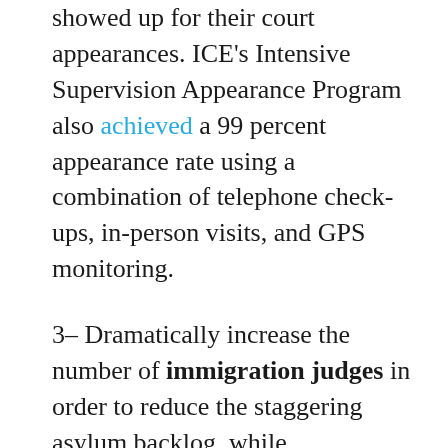showed up for their court appearances. ICE's Intensive Supervision Appearance Program also achieved a 99 percent appearance rate using a combination of telephone check-ups, in-person visits, and GPS monitoring.
3– Dramatically increase the number of immigration judges in order to reduce the staggering asylum backlog, while guaranteeing due process. The Justice Department currently employs only 395 immigration judges to deal with a backlog of nearly a million cases. At $1 million per courtroom, a billion dollars could more than triple that number, vastly reducing the backlog and slashing the amount of time—currently two or three years—that asylum seekers remain in the United States while awaiting a decision. An increase in judges, though, should not seek to speed cases to the